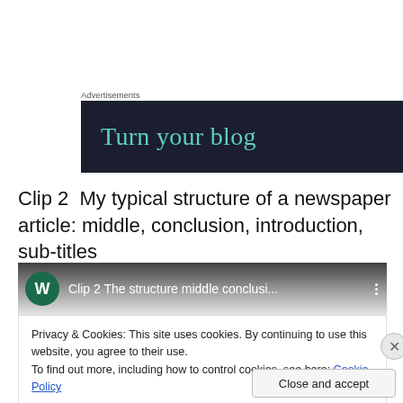Advertisements
[Figure (screenshot): Advertisement banner with dark navy background and teal text reading 'Turn your blog']
Clip 2  My typical structure of a newspaper article: middle, conclusion, introduction, sub-titles
[Figure (screenshot): YouTube video embed showing 'Clip 2 The structure middle conclusi...' with dark thumbnail and channel avatar W]
Privacy & Cookies: This site uses cookies. By continuing to use this website, you agree to their use.
To find out more, including how to control cookies, see here: Cookie Policy
Close and accept